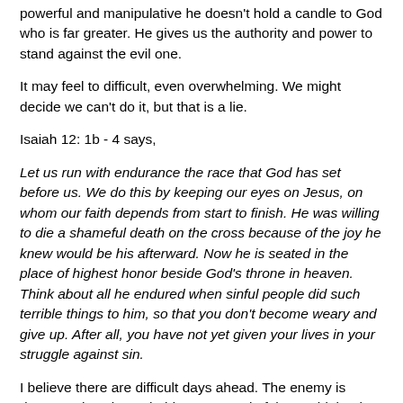powerful and manipulative he doesn't hold a candle to God who is far greater. He gives us the authority and power to stand against the evil one.
It may feel to difficult, even overwhelming. We might decide we can't do it, but that is a lie.
Isaiah 12: 1b - 4 says,
Let us run with endurance the race that God has set before us. We do this by keeping our eyes on Jesus, on whom our faith depends from start to finish. He was willing to die a shameful death on the cross because of the joy he knew would be his afterward. Now he is seated in the place of highest honor beside God's throne in heaven. Think about all he endured when sinful people did such terrible things to him, so that you don't become weary and give up. After all, you have not yet given your lives in your struggle against sin.
I believe there are difficult days ahead. The enemy is desperately trying to hold onto control of the world, but he is losing the battle. As we see more and more truth about all